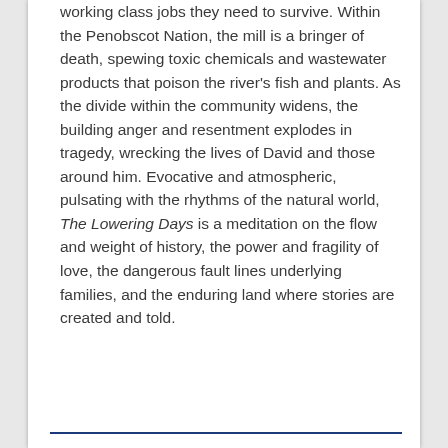working class jobs they need to survive. Within the Penobscot Nation, the mill is a bringer of death, spewing toxic chemicals and wastewater products that poison the river's fish and plants. As the divide within the community widens, the building anger and resentment explodes in tragedy, wrecking the lives of David and those around him. Evocative and atmospheric, pulsating with the rhythms of the natural world, The Lowering Days is a meditation on the flow and weight of history, the power and fragility of love, the dangerous fault lines underlying families, and the enduring land where stories are created and told.